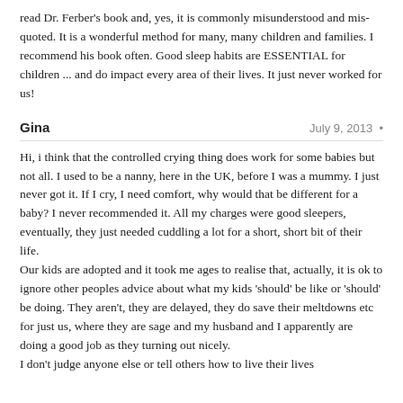read Dr. Ferber's book and, yes, it is commonly misunderstood and mis-quoted. It is a wonderful method for many, many children and families. I recommend his book often. Good sleep habits are ESSENTIAL for children ... and do impact every area of their lives. It just never worked for us!
Gina   July 9, 2013 •
Hi, i think that the controlled crying thing does work for some babies but not all. I used to be a nanny, here in the UK, before I was a mummy. I just never got it. If I cry, I need comfort, why would that be different for a baby? I never recommended it. All my charges were good sleepers, eventually, they just needed cuddling a lot for a short, short bit of their life. Our kids are adopted and it took me ages to realise that, actually, it is ok to ignore other peoples advice about what my kids 'should' be like or 'should' be doing. They aren't, they are delayed, they do save their meltdowns etc for just us, where they are sage and my husband and I apparently are doing a good job as they turning out nicely. I don't judge anyone else or tell others how to live their lives